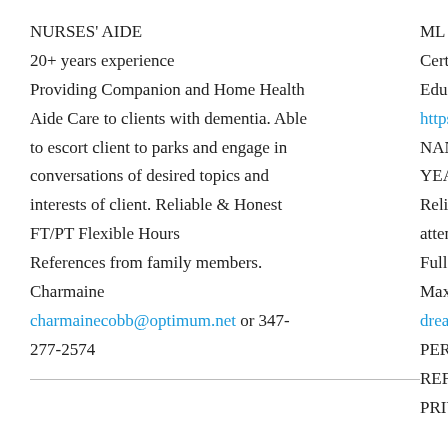NURSES' AIDE
20+ years experience
Providing Companion and Home Health Aide Care to clients with dementia. Able to escort client to parks and engage in conversations of desired topics and interests of client. Reliable & Honest
FT/PT Flexible Hours
References from family members.
Charmaine
charmainecobb@optimum.net or 347-277-2574
ML Fiske is a Certified PD Educator.
https://pd-p
NANNY WITH YEARS EXPE
Reliable, nurt attentive. Re Full or Part ti
Maxine 347-9
dreamnanny:
PERSONAL T
REFLEXOLO
PRIVATE ST